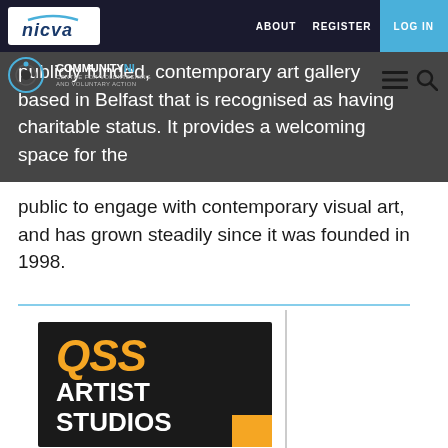nicva | ABOUT  REGISTER  LOG IN
COMMUNITY NI
publicly funded, contemporary art gallery based in Belfast that is recognised as having charitable status. It provides a welcoming space for the public to engage with contemporary visual art, and has grown steadily since it was founded in 1998.
[Figure (logo): QSS ARTIST STUDIOS logo — bold gold QSS lettering over white ARTIST STUDIOS text on black background with gold accent box]